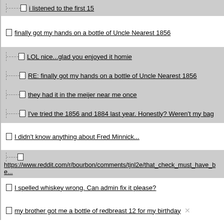i listened to the first 15
finally got my hands on a bottle of Uncle Nearest 1856
LOL nice...glad you enjoyed it homie
RE: finally got my hands on a bottle of Uncle Nearest 1856
they had it in the meijer near me once
I've tried the 1856 and 1884 last year. Honestly? Weren't my bag
I didn't know anything about Fred Minnick...
https://www.reddit.com/r/bourbon/comments/tjnl2e/that_check_must_have_be...
I spelled whiskey wrong. Can admin fix it please?
my brother got me a bottle of redbreast 12 for my birthday